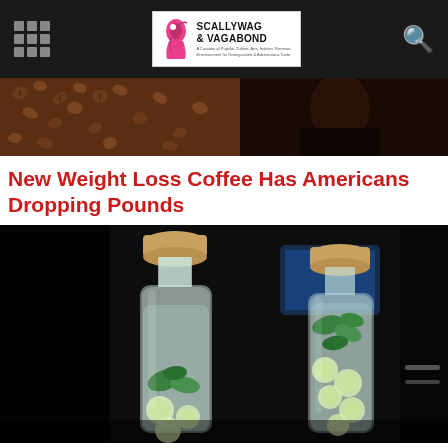SCALLYWAG & VAGABOND
[Figure (photo): Top banner photo showing coffee beans and a dark background]
New Weight Loss Coffee Has Americans Dropping Pounds
[Figure (photo): Two glass bottles with cork stoppers containing water infused with cucumber slices and mint leaves, against a dark background]